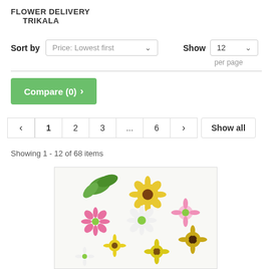FLOWER DELIVERY TRIKALA
Sort by  Price: Lowest first   Show  12  per page
Compare (0) >
< 1 2 3 ... 6 > Show all
Showing 1 - 12 of 68 items
[Figure (photo): A colorful bouquet of mixed flowers including yellow, white, pink daisies and sunflowers on a white background]